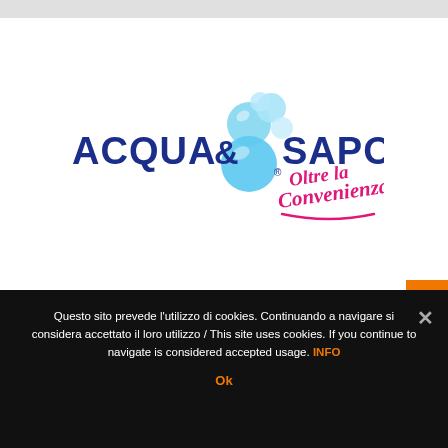[Figure (logo): Acqua & Sapone logo with blue bubble letters, blue water bubbles, and pink italic cursive text 'Oltre la Convenienza' with registered trademark symbol]
Questo sito prevede l'utilizzo di cookies. Continuando a navigare si considera accettato il loro utilizzo / This site uses cookies. If you continue to navigate is considered accepted usage. INFO
Ok